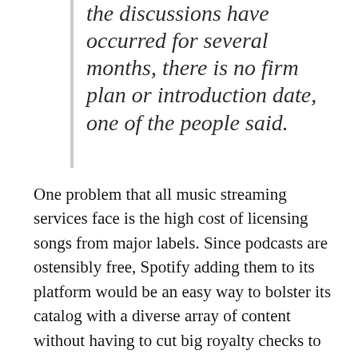the discussions have occurred for several months, there is no firm plan or introduction date, one of the people said.
One problem that all music streaming services face is the high cost of licensing songs from major labels. Since podcasts are ostensibly free, Spotify adding them to its platform would be an easy way to bolster its catalog with a diverse array of content without having to cut big royalty checks to producers. Podcasting within Spotify may even include video, allowing users to switch between audio and video on the fly.